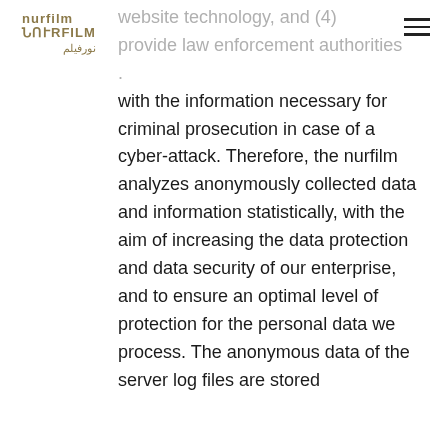nurfilm / ՆՈՒRFILM / نورفيلم [logo] [hamburger menu]
website technology, and (4) provide law enforcement authorities with the information necessary for criminal prosecution in case of a cyber-attack. Therefore, the nurfilm analyzes anonymously collected data and information statistically, with the aim of increasing the data protection and data security of our enterprise, and to ensure an optimal level of protection for the personal data we process. The anonymous data of the server log files are stored separately from all personal data